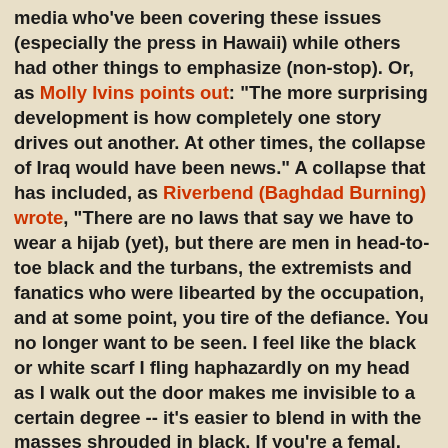media who've been covering these issues (especially the press in Hawaii) while others had other things to emphasize (non-stop). Or, as Molly Ivins points out: "The more surprising development is how completely one story drives out another. At other times, the collapse of Iraq would have been news." A collapse that has included, as Riverbend (Baghdad Burning) wrote, "There are no laws that say we have to wear a hijab (yet), but there are men in head-to-toe black and the turbans, the extremists and fanatics who were libearted by the occupation, and at some point, you tire of the defiance. You no longer want to be seen. I feel like the black or white scarf I fling haphazardly on my head as I walk out the door makes me invisible to a certain degree -- it's easier to blend in with the masses shrouded in black. If you're a femal, you don't want the attention -- you don't want it from Iraqi police, you don't want it from the black clad militia man, you don't want it from the American soldier. You don't want to be noticed or seen." Reuters notes six corpses were discovered in Baghdad ("bound and blindfolded") Of the six, AP notes that they